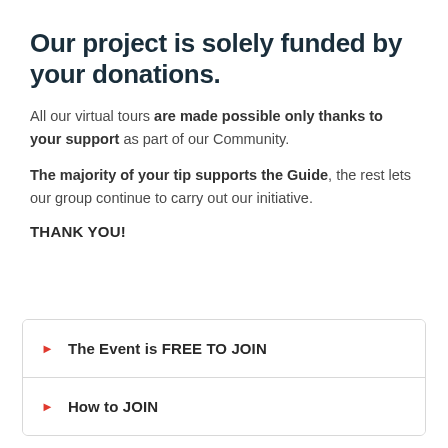Our project is solely funded by your donations.
All our virtual tours are made possible only thanks to your support as part of our Community.
The majority of your tip supports the Guide, the rest lets our group continue to carry out our initiative.
THANK YOU!
The Event is FREE TO JOIN
How to JOIN